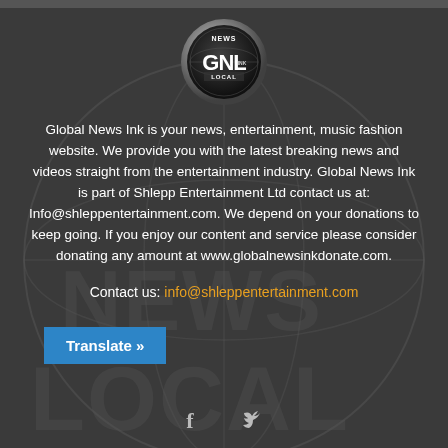[Figure (logo): GNL Global News Ink circular metallic logo with globe and text 'NEWS', 'GNL', 'INK', 'LOCAL']
Global News Ink is your news, entertainment, music fashion website. We provide you with the latest breaking news and videos straight from the entertainment industry. Global News Ink is part of Shlepp Entertainment Ltd contact us at: Info@shleppentertainment.com. We depend on your donations to keep going. If you enjoy our content and service please consider donating any amount at www.globalnewsinkdonate.com.
Contact us: info@shleppentertainment.com
Translate »